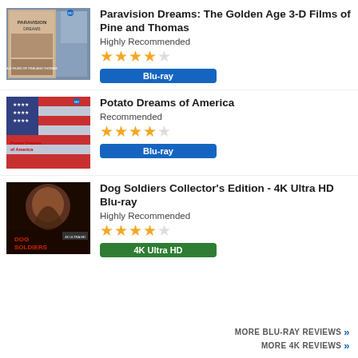[Figure (photo): Blu-ray cover art for Paravision Dreams: The Golden Age 3-D Films of Pine and Thomas]
Paravision Dreams: The Golden Age 3-D Films of Pine and Thomas
Highly Recommended
★★★★☆
Blu-ray
[Figure (photo): Blu-ray cover art for Potato Dreams of America]
Potato Dreams of America
Recommended
★★★★☆
Blu-ray
[Figure (photo): 4K Ultra HD Blu-ray cover art for Dog Soldiers Collector's Edition]
Dog Soldiers Collector's Edition - 4K Ultra HD Blu-ray
Highly Recommended
★★★★☆
4K Ultra HD
MORE BLU-RAY REVIEWS »»
MORE 4K REVIEWS »»